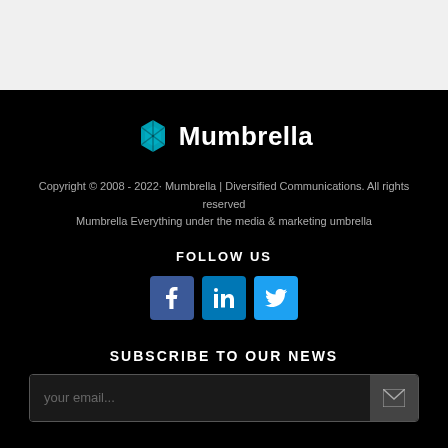[Figure (logo): Mumbrella logo with teal geometric icon and white text on black background]
Copyright © 2008 - 2022· Mumbrella | Diversified Communications. All rights reserved
Mumbrella Everything under the media & marketing umbrella
FOLLOW US
[Figure (infographic): Social media icons: Facebook (f), LinkedIn (in), Twitter (bird)]
SUBSCRIBE TO OUR NEWS
your email...